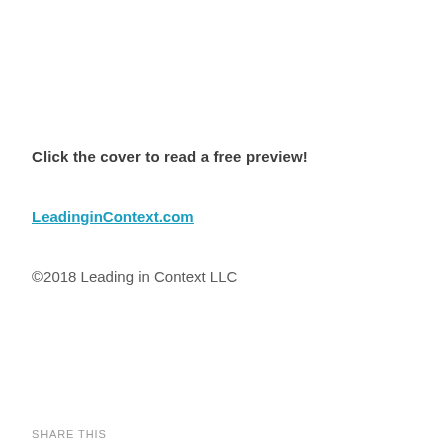Click the cover to read a free preview!
LeadinginContext.com
©2018 Leading in Context LLC
SHARE THIS